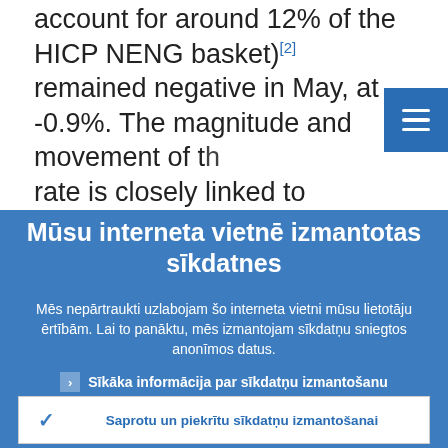account for around 12% of the HICP NENG basket)[2] remained negative in May, at -0.9%. The magnitude and movement of the rate is closely linked to developments in the
Mūsu interneta vietnē izmantotas sīkdatnes
Mēs nepārtraukti uzlabojam šo interneta vietni mūsu lietotāju ērtībām. Lai to panāktu, mēs izmantojam sīkdatņu sniegtos anonīmos datus.
› Sīkāka informācija par sīkdatņu izmantošanu
✓ Saprotu un piekrītu sīkdatņu izmantošanai
✕ Nepiekrītu sīkdatņu izmantošanai